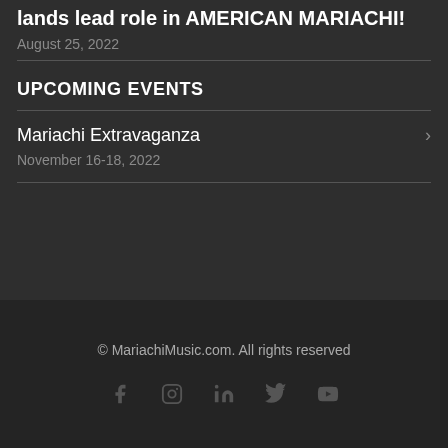lands lead role in AMERICAN MARIACHI!
August 25, 2022
UPCOMING EVENTS
Mariachi Extravaganza
November 16-18, 2022
© MariachiMusic.com. All rights reserved
[Figure (other): Social media icons: Facebook, Instagram, LinkedIn, Twitter, YouTube]